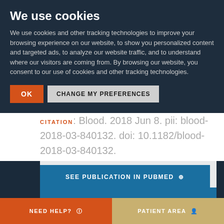We use cookies
We use cookies and other tracking technologies to improve your browsing experience on our website, to show you personalized content and targeted ads, to analyze our website traffic, and to understand where our visitors are coming from. By browsing our website, you consent to our use of cookies and other tracking technologies.
OK
CHANGE MY PREFERENCES
CITATION: Blood. 2018 Jun 8. pii: blood-2018-03-840132. doi: 10.1182/blood-2018-03-840132.
SEE PUBLICATION IN PUBMED ⊕
NEED HELP? ℹ
PATIENT AREA 👤